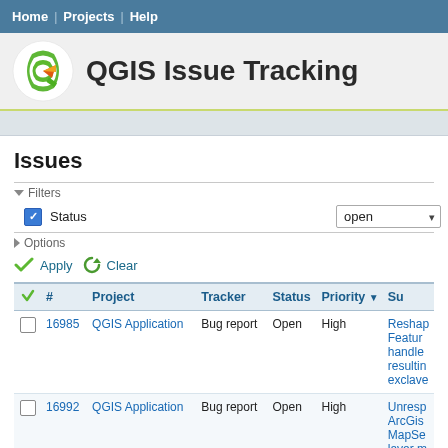Home / Projects / Help
QGIS Issue Tracking
Issues
▾ Filters
Status  open  Add
▶ Options
Apply  Clear
|  | # | Project | Tracker | Status | Priority ▼ | Su |
| --- | --- | --- | --- | --- | --- | --- |
|  | 16985 | QGIS Application | Bug report | Open | High | Reshape Feature handle resulting exclave |
|  | 16992 | QGIS Application | Bug report | Open | High | Unresp ArcGis MapSe layer m QGIS e after be |